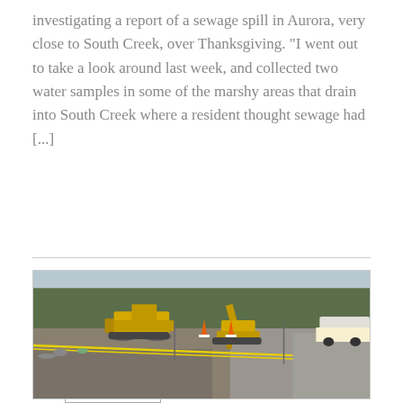investigating a report of a sewage spill in Aurora, very close to South Creek, over Thanksgiving. "I went out to take a look around last week, and collected two water samples in some of the marshy areas that drain into South Creek where a resident thought sewage had [...]
CONTINUE READING →
[Figure (photo): Construction site photo showing yellow heavy equipment (bulldozer and excavator), orange traffic cones, yellow caution tape strung across a gravel and dirt area, with bare trees in the background and paved road visible on the right.]